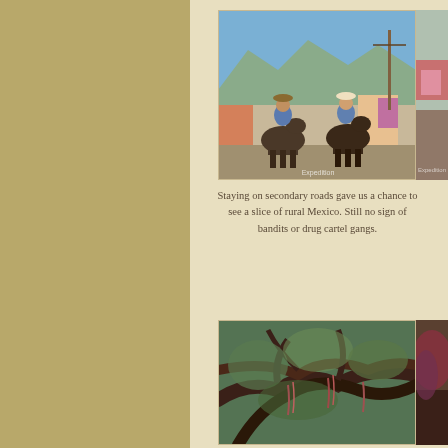[Figure (photo): Two riders on horseback in a Mexican village street with mountains and colorful buildings in the background]
[Figure (photo): Partial view of another scene, possibly laundry hanging near a hillside]
Staying on secondary roads gave us a chance to see a slice of rural Mexico. Still no sign of bandits or drug cartel gangs.
[Figure (photo): Gnarled tree branches with mossy or leafy growth overhead]
[Figure (photo): Partial view of bromeliad or succulent plants]